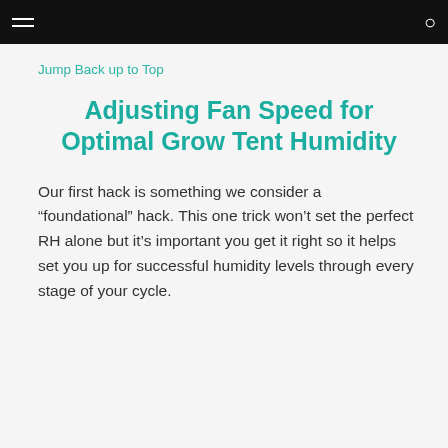Jump Back up to Top
Adjusting Fan Speed for Optimal Grow Tent Humidity
Our first hack is something we consider a “foundational” hack. This one trick won’t set the perfect RH alone but it’s important you get it right so it helps set you up for successful humidity levels through every stage of your cycle.